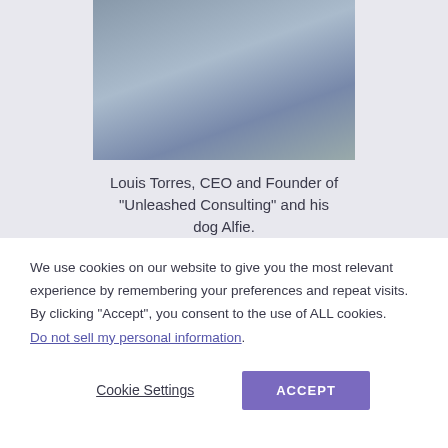[Figure (photo): Photo of Louis Torres holding his dog Alfie outdoors, with greenery in the background]
Louis Torres, CEO and Founder of "Unleashed Consulting" and his dog Alfie.
We use cookies on our website to give you the most relevant experience by remembering your preferences and repeat visits. By clicking "Accept", you consent to the use of ALL cookies.
Do not sell my personal information.
Cookie Settings
ACCEPT